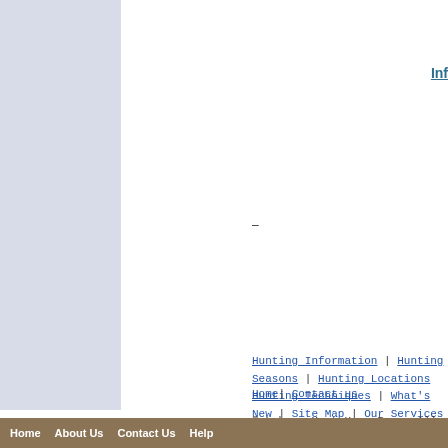Inf
-
Hunting Information | Hunting Seasons | Hunting Locations
Hunting Techniques | What's New | Site Map | Our Services | Search | Related L
Home| Contact us
© LebanonHunt Home Page. All rights reserved.
Home  About Us  Contact Us  Help